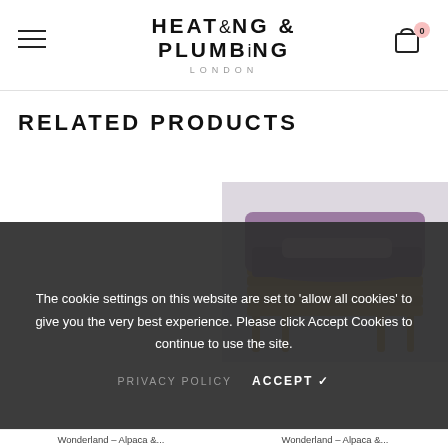HEATING & PLUMBING LONDON
RELATED PRODUCTS
[Figure (photo): A purple/mauve knitted blanket or throw draped over a wooden rattan chair, shot against a light grey background.]
The cookie settings on this website are set to 'allow all cookies' to give you the very best experience. Please click Accept Cookies to continue to use the site.
PRIVACY POLICY   ACCEPT ✓
Wonderland – Alpaca &...   Wonderland – Alpaca &...